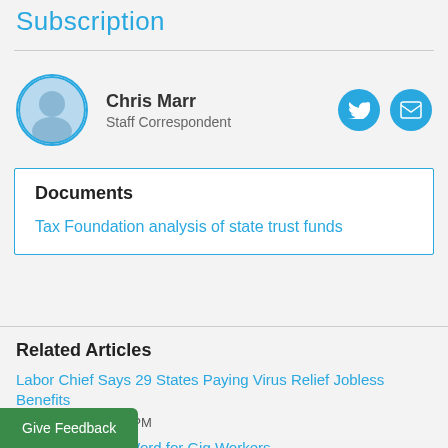Subscription
Chris Marr
Staff Correspondent
Documents
Tax Foundation analysis of state trust funds
Related Articles
Labor Chief Says 29 States Paying Virus Relief Jobless Benefits
April 15, 2020, 7:26 PM
omes Operative Word for Gig Workers
Give Feedback